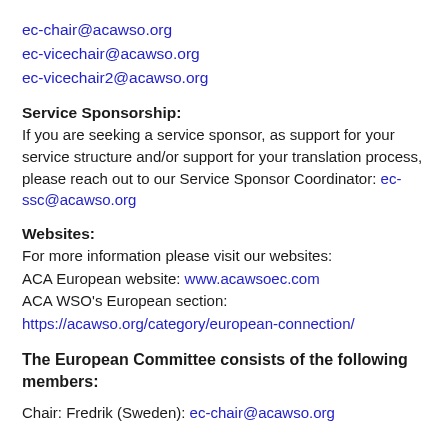ec-chair@acawso.org
ec-vicechair@acawso.org
ec-vicechair2@acawso.org
Service Sponsorship:
If you are seeking a service sponsor, as support for your service structure and/or support for your translation process, please reach out to our Service Sponsor Coordinator: ec-ssc@acawso.org
Websites:
For more information please visit our websites:
ACA European website: www.acawsoec.com
ACA WSO's European section:
https://acawso.org/category/european-connection/
The European Committee consists of the following members:
Chair: Fredrik (Sweden): ec-chair@acawso.org